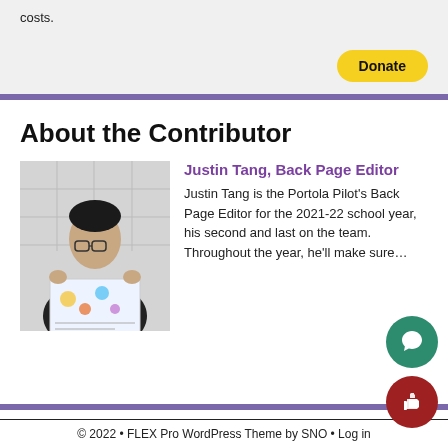costs.
Donate
About the Contributor
[Figure (photo): Photo of Justin Tang holding a printed page in front of a white tile wall, wearing a black hoodie and glasses.]
Justin Tang, Back Page Editor
Justin Tang is the Portola Pilot's Back Page Editor for the 2021-22 school year, his second and last on the team. Throughout the year, he'll make sure…
© 2022 • FLEX Pro WordPress Theme by SNO • Log in